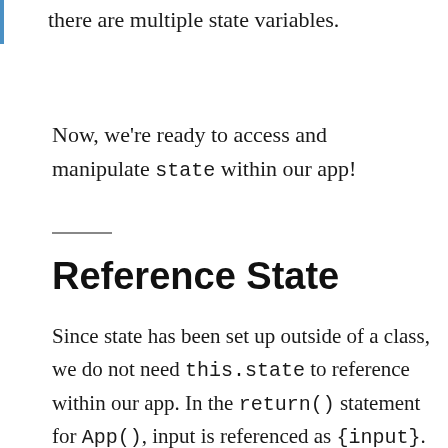there are multiple state variables.
Now, we're ready to access and manipulate state within our app!
Reference State
Since state has been set up outside of a class, we do not need this.state to reference within our app. In the return() statement for App(), input is referenced as {input}.